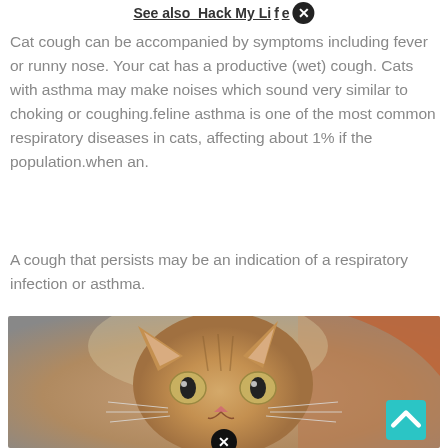See also  Hack My Life
Cat cough can be accompanied by symptoms including fever or runny nose. Your cat has a productive (wet) cough. Cats with asthma may make noises which sound very similar to choking or coughing.feline asthma is one of the most common respiratory diseases in cats, affecting about 1% if the population.when an.
A cough that persists may be an indication of a respiratory infection or asthma.
[Figure (photo): Close-up photo of a fluffy tabby kitten with wide yellow-green eyes being held by a person with red hair, with a close-up button overlay at the bottom center.]